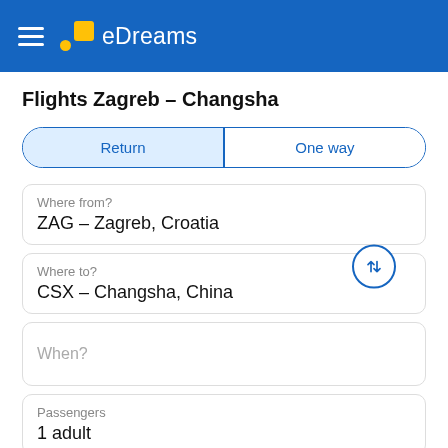eDreams
Flights Zagreb - Changsha
Return | One way
Where from?
ZAG – Zagreb, Croatia
Where to?
CSX – Changsha, China
When?
Passengers
1 adult